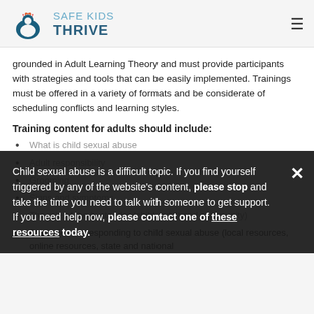SAFE KIDS THRIVE
grounded in Adult Learning Theory and must provide participants with strategies and tools that can be easily implemented. Trainings must be offered in a variety of formats and be considerate of scheduling conflicts and learning styles.
Training content for adults should include:
What is child sexual abuse
Adult responsibility
Grooming
Signs and symptoms
The role of the bystander (child, adult and community)
Strategies for responding to child sexual abuse (local resources, online resources, state and national
Child sexual abuse is a difficult topic. If you find yourself triggered by any of the website's content, please stop and take the time you need to talk with someone to get support. If you need help now, please contact one of these resources today.